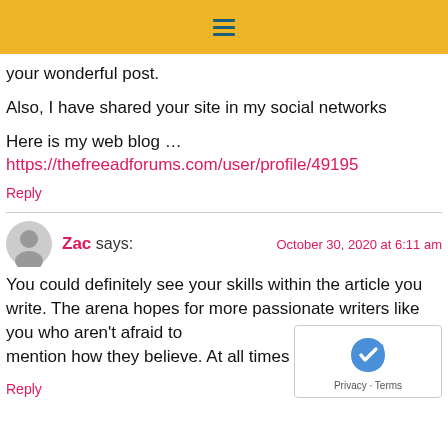☰
your wonderful post.
Also, I have shared your site in my social networks
Here is my web blog …
https://thefreeadforums.com/user/profile/49195
Reply
Zac says:
October 30, 2020 at 6:11 am
You could definitely see your skills within the article you write. The arena hopes for more passionate writers like you who aren't afraid to mention how they believe. At all times go after your he
Reply